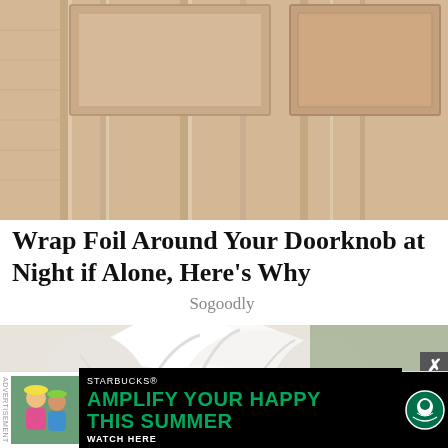[Figure (photo): Close-up photo of a wooden interior door with paneling and molding, warm beige/tan tones]
Wrap Foil Around Your Doorknob at Night if Alone, Here's Why
Sogoodly
[Figure (photo): Close-up photo of a small fluffy white dog (possibly Maltese or Bichon) looking directly at the camera with dark eyes]
[Figure (screenshot): Starbucks advertisement banner: 'AMPLIFY YOUR HAPPY THIS SUMMER - WATCH HERE' with Starbucks logo and a photo of children]